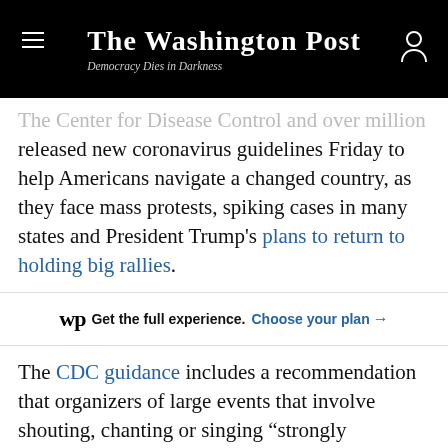The Washington Post — Democracy Dies in Darkness
The Center for Disease Control and over million released new coronavirus guidelines Friday to help Americans navigate a changed country, as they face mass protests, spiking cases in many states and President Trump's plans to return to holding big rallies.
Get the full experience. Choose your plan →
The CDC guidance includes a recommendation that organizers of large events that involve shouting, chanting or singing “strongly encourage” the use of cloth face coverings. That is complicated by a push to reopen the country even as more than 2 million Americans have now been infected by the coronavirus